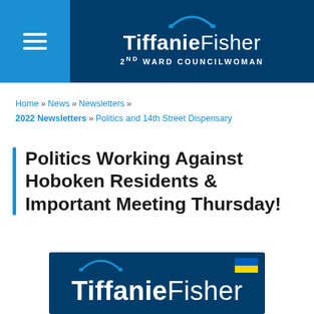[Figure (logo): Tiffanie Fisher 2nd Ward Councilwoman header logo with hamburger menu on blue background]
Home » News » Newsletters » 2022 Newsletters » Politics and 14th Street Dispensary
Politics Working Against Hoboken Residents & Important Meeting Thursday!
[Figure (logo): Tiffanie Fisher newsletter logo on dark blue background with Ukraine flag in upper right corner]